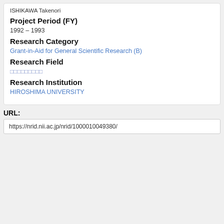ISHIKAWA Takenori
Project Period (FY)
1992 – 1993
Research Category
Grant-in-Aid for General Scientific Research (B)
Research Field
□□□□□□□□□
Research Institution
HIROSHIMA UNIVERSITY
URL:
https://nrid.nii.ac.jp/nrid/1000010049380/